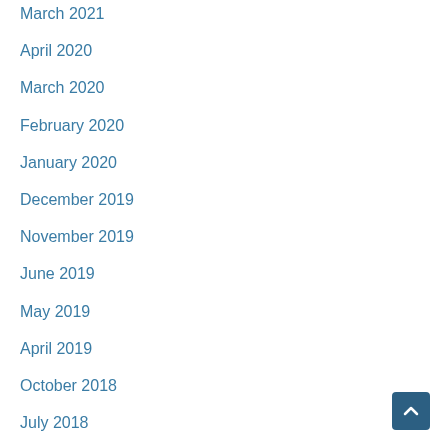March 2021
April 2020
March 2020
February 2020
January 2020
December 2019
November 2019
June 2019
May 2019
April 2019
October 2018
July 2018
March 2018
February 2018